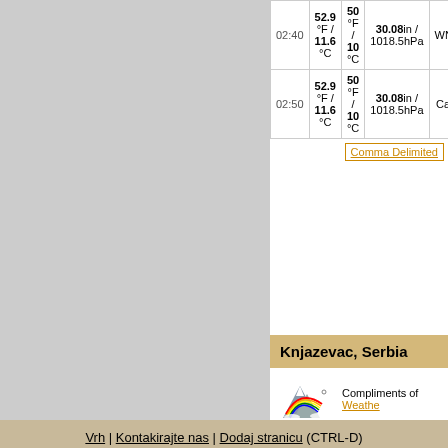| Time | Temp | Dew Point | Pressure | Wind Dir | Wind Speed |  |
| --- | --- | --- | --- | --- | --- | --- |
| 02:40 | 52.9 °F / 11.6 °C | 50 °F / 10 °C | 30.08in / 1018.5hPa | WNW | 1mph / 1.6km/h | 3m / 4. |
| 02:50 | 52.9 °F / 11.6 °C | 50 °F / 10 °C | 30.08in / 1018.5hPa | Calm |  | 2m / 3. |
Comma Delimited
Knjazevac, Serbia
[Figure (illustration): Mountain with rainbow weather icon, Compliments of Weather-Display]
Vrh | Kontakirajte nas | Dodaj stranicu (CTRL-D)
© 2022, vreme.in.rs | Weather-Display (10.37S-(b143)) | Proveri XHTML 1.0 | Proveri CSS
Never base important decisions on this or any weather information obtained from the Internet.